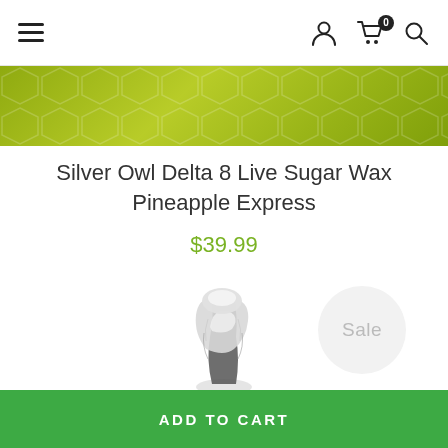Navigation bar with hamburger menu, user icon, cart (0), and search icon
[Figure (photo): Green/yellow decorative banner strip at top of page]
Silver Owl Delta 8 Live Sugar Wax Pineapple Express
$39.99
[Figure (photo): Product photo of Silver Owl Delta 8 Live Sugar Wax — a crystalline wax concentrate product on a white background, with a circular Sale badge to the right]
ADD TO CART